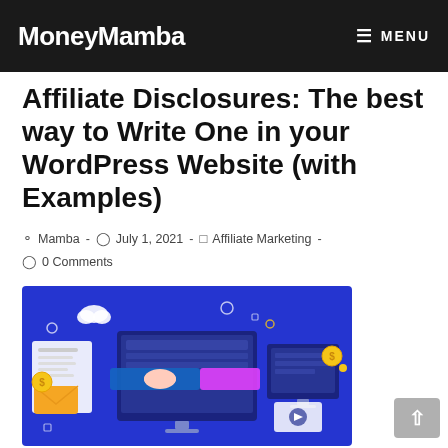MoneyMamba   ☰ MENU
Affiliate Disclosures: The best way to Write One in your WordPress Website (with Examples)
Mamba · July 1, 2021 · Affiliate Marketing · 0 Comments
[Figure (illustration): Blue banner illustration showing digital marketing / affiliate concept with computer monitors, handshake, dollar coins, envelope, and various UI elements on a dark blue background.]